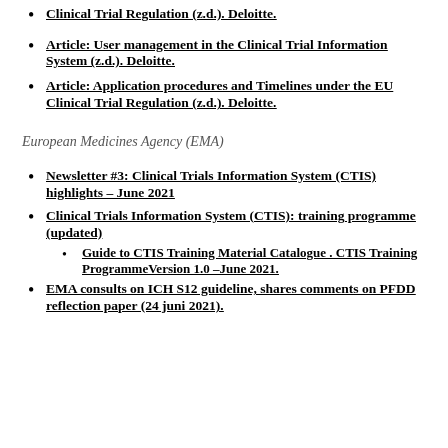Clinical Trial Regulation (z.d.). Deloitte.
Article: User management in the Clinical Trial Information System (z.d.). Deloitte.
Article: Application procedures and Timelines under the EU Clinical Trial Regulation (z.d.). Deloitte.
European Medicines Agency (EMA)
Newsletter #3: Clinical Trials Information System (CTIS) highlights – June 2021
Clinical Trials Information System (CTIS): training programme (updated)
Guide to CTIS Training Material Catalogue . CTIS Training ProgrammeVersion 1.0 –June 2021.
EMA consults on ICH S12 guideline, shares comments on PFDD reflection paper (24 juni 2021).